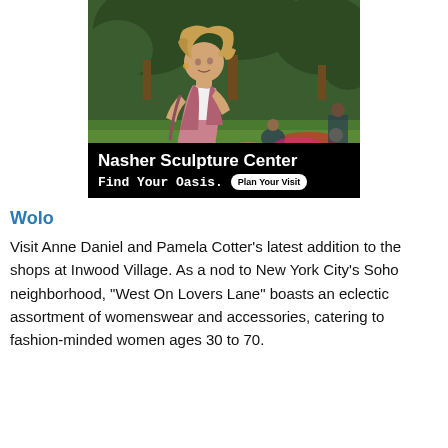[Figure (photo): Advertisement for Nasher Sculpture Center showing a young woman with blonde hair in a pink outfit in a park setting with people sitting on the grass behind her. A black overlay at the bottom reads 'Nasher Sculpture Center' and 'Find Your Oasis.' with a 'Plan Your Visit' button.]
Wolo
Visit Anne Daniel and Pamela Cotter's latest addition to the shops at Inwood Village. As a nod to New York City's Soho neighborhood, "West On Lovers Lane" boasts an eclectic assortment of womenswear and accessories, catering to fashion-minded women ages 30 to 70.